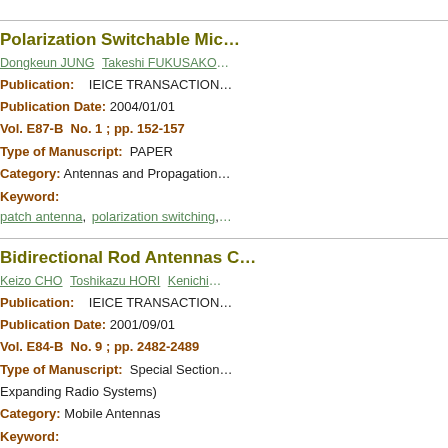Polarization Switchable Mic...
Dongkeun JUNG Takeshi FUKUSAKO
Publication:   IEICE TRANSACTION
Publication Date: 2004/01/01
Vol. E87-B  No. 1 ; pp. 152-157
Type of Manuscript:  PAPER
Category: Antennas and Propagation
Keyword:
patch antenna, polarization switching,
Bidirectional Rod Antennas C...
Keizo CHO Toshikazu HORI Kenichi...
Publication:   IEICE TRANSACTION
Publication Date: 2001/09/01
Vol. E84-B  No. 9 ; pp. 2482-2489
Type of Manuscript:  Special Section... Expanding Radio Systems)
Category: Mobile Antennas
Keyword:
base station antenna, bidirectional, pat...